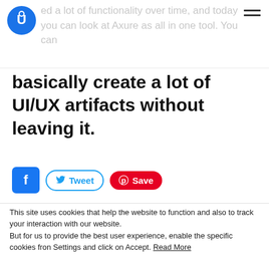ed a lot of functionality over time, and today you can look at Axure as all in one tool. You can
basically create a lot of UI/UX artifacts without leaving it.
[Figure (infographic): Social share buttons: Facebook, Tweet, Save (Pinterest)]
This site uses cookies that help the website to function and also to track your interaction with our website. But for us to provide the best user experience, enable the specific cookies fron Settings and click on Accept. Read More
Cookie Settings
Reject All
Accept All